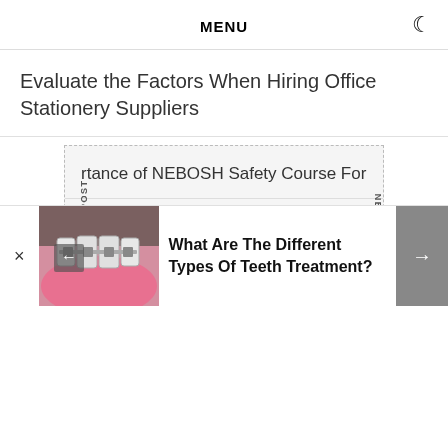MENU
Evaluate the Factors When Hiring Office Stationery Suppliers
rtance of NEBOSH Safety Course For Organization
ARTICLE USING TAGS
t And Design
Business Services
[Figure (photo): Advertisement banner showing dental braces/teeth treatment image with text: What Are The Different Types Of Teeth Treatment?]